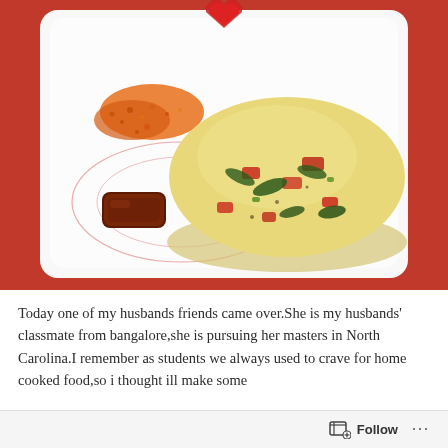[Figure (photo): A white square plate on a red tablecloth, holding a dome-shaped yellow upma (Indian semolina dish) with visible red tomato pieces and green curry leaves, accompanied by orange chutney powder and a piece of pickle/chutney on the left side of the plate.]
Today one of my husbands friends came over.She is my husbands' classmate from bangalore,she is pursuing her masters in North Carolina.I remember as students we always used to crave for home cooked food,so i thought ill make some